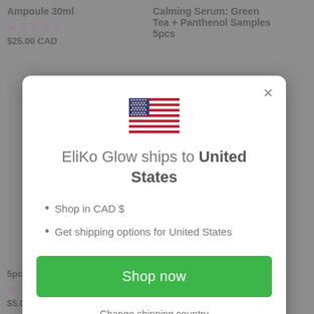Ampoule 30ml
☆☆☆☆☆
$25.00 CAD
Calming Serum: Green Tea + Panthenol Samples 5pcs
[Figure (illustration): US flag emoji/icon centered in modal]
EliKo Glow ships to United States
Shop in CAD $
Get shipping options for United States
Shop now
Change shipping country
5pcs
☆☆☆☆☆
$5.00 CAD
☆☆☆☆☆
$30.00 CAD